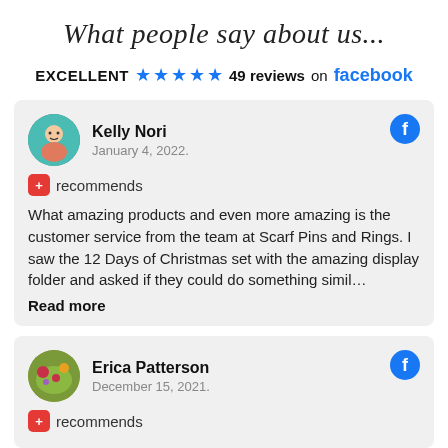What people say about us...
EXCELLENT ★★★★★ 49 reviews on facebook
Kelly Nori
January 4, 2022.
🔴 recommends
What amazing products and even more amazing is the customer service from the team at Scarf Pins and Rings. I saw the 12 Days of Christmas set with the amazing display folder and asked if they could do something simil…
Read more
Erica Patterson
December 15, 2021.
🔴 recommends